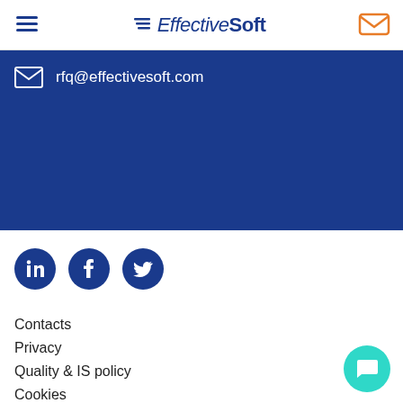EffectiveSoft
rfq@effectivesoft.com
[Figure (logo): LinkedIn, Facebook, and Twitter social media icons in dark blue circles]
Contacts
Privacy
Quality & IS policy
Cookies
Sitemap